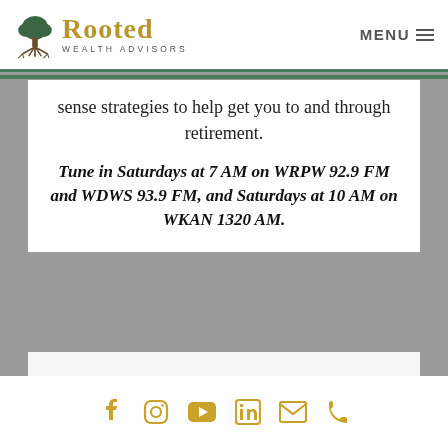[Figure (logo): Rooted Wealth Advisors logo with tree icon and golden text]
MENU
sense strategies to help get you to and through retirement.
Tune in Saturdays at 7 AM on WRPW 92.9 FM and WDWS 93.9 FM, and Saturdays at 10 AM on WKAN 1320 AM.
[Figure (infographic): Social media icons row: Facebook, Instagram, YouTube, LinkedIn, Email, Phone in gold color]